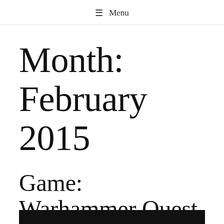≡ Menu
Month: February 2015
Game: Warhammer Quest
February 15, 2015   dyle   Games, Linux
[Figure (photo): Black bar at bottom of page, likely a screenshot or image header]